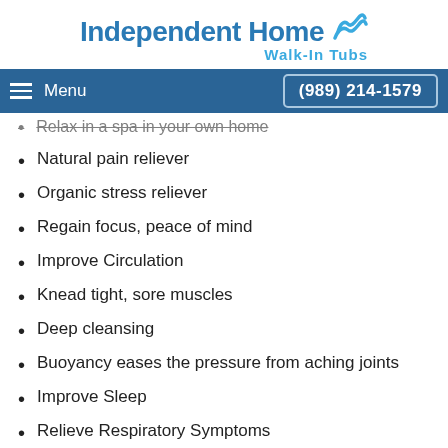[Figure (logo): Independent Home Walk-In Tubs logo with wave icon and blue text]
Menu  (989) 214-1579
Relax in a spa in your own home
Natural pain reliever
Organic stress reliever
Regain focus, peace of mind
Improve Circulation
Knead tight, sore muscles
Deep cleansing
Buoyancy eases the pressure from aching joints
Improve Sleep
Relieve Respiratory Symptoms